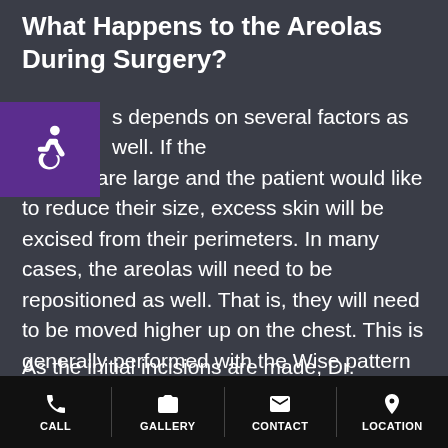What Happens to the Areolas During Surgery?
[Figure (logo): Accessibility icon (wheelchair symbol) on purple background]
s depends on several factors as well. If the areolas are large and the patient would like to reduce their size, excess skin will be excised from their perimeters. In many cases, the areolas will need to be repositioned as well. That is, they will need to be moved higher up on the chest. This is generally performed with the Wise pattern technique or the “anchor method”.
As the initial incisions are made, Dr. Steinberg will leave the nipple tethered to its nerve and blood supply. It will then be repositioned
CALL  GALLERY  CONTACT  LOCATION